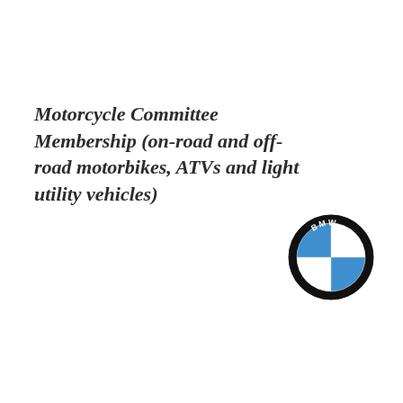Motorcycle Committee Membership (on-road and off-road motorbikes, ATVs and light utility vehicles)
[Figure (logo): BMW roundel logo: circular badge with black outer ring bearing 'BMW' text in white, divided into four quadrants alternating blue and white]